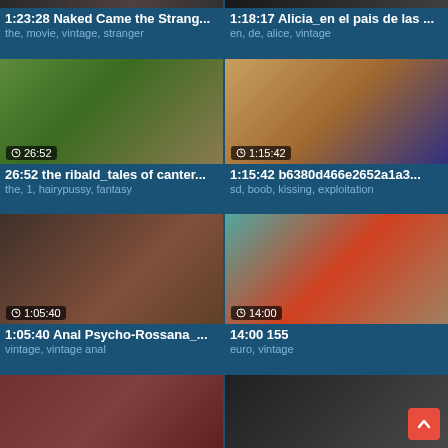[Figure (screenshot): Video thumbnail grid showing adult video listings with thumbnails, durations, titles, and tags]
1:23:28 Naked Came the Strang...
the, movie, vintage, stranger
1:18:17 Alicia_en el pais de las ...
en, de, alice, vintage
26:52 the ribald_tales of canter...
the, 1, hairypussy, fantasy
1:15:42 b6380d466e2652a1a3...
sd, boob, kissing, exploitation
1:05:40 Anal Psycho-Rossana_...
vintage, vintage anal
14:00 155
euro, vintage